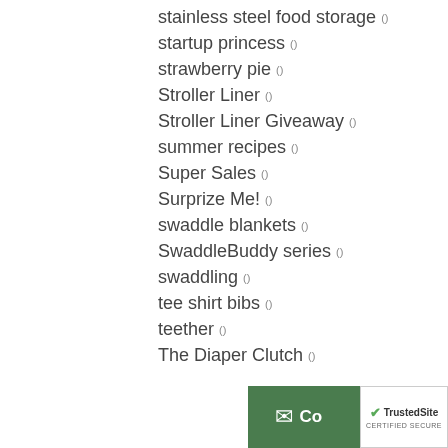stainless steel food storage ()
startup princess ()
strawberry pie ()
Stroller Liner ()
Stroller Liner Giveaway ()
summer recipes ()
Super Sales ()
Surprize Me! ()
swaddle blankets ()
SwaddleBuddy series ()
swaddling ()
tee shirt bibs ()
teether ()
The Diaper Clutch ()
[Figure (other): TrustedSite certified secure badge and contact button overlay in bottom-right corner]